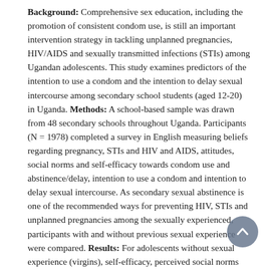Background: Comprehensive sex education, including the promotion of consistent condom use, is still an important intervention strategy in tackling unplanned pregnancies, HIV/AIDS and sexually transmitted infections (STIs) among Ugandan adolescents. This study examines predictors of the intention to use a condom and the intention to delay sexual intercourse among secondary school students (aged 12-20) in Uganda. Methods: A school-based sample was drawn from 48 secondary schools throughout Uganda. Participants (N = 1978) completed a survey in English measuring beliefs regarding pregnancy, STIs and HIV and AIDS, attitudes, social norms and self-efficacy towards condom use and abstinence/delay, intention to use a condom and intention to delay sexual intercourse. As secondary sexual abstinence is one of the recommended ways for preventing HIV, STIs and unplanned pregnancies among the sexually experienced, participants with and without previous sexual experience were compared. Results: For adolescents without sexual experience (virgins), self-efficacy, perceived social norms and attitude towards condom use predicted the intention to use condoms. Among those with sexual experience (non-virgins), only perceived social norm was a significant predictor. The intention to delay sexual intercourse was, however, predicted similarly for both those with attitudes expressed and